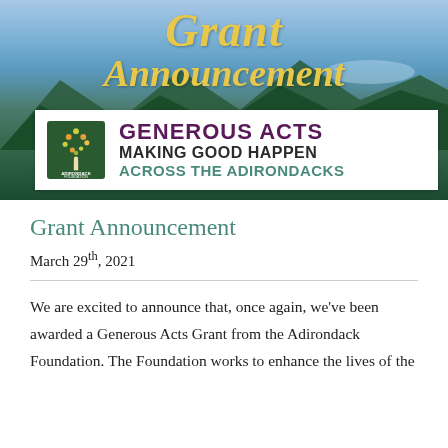Grant Announcement
[Figure (logo): Adirondack Foundation logo with tree and text: GENEROUS ACTS MAKING GOOD HAPPEN ACROSS THE ADIRONDACKS]
Grant Announcement
March 29th, 2021
We are excited to announce that, once again, we've been awarded a Generous Acts Grant from the Adirondack Foundation. The Foundation works to enhance the lives of the